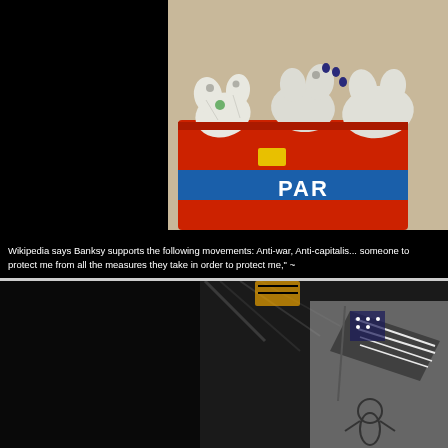[Figure (photo): Photo showing white stuffed animal hands/gloves hanging over the edge of a red and blue recycling/trash bin labeled 'PAR', against a beige wall background. Left portion of image is black.]
Wikipedia says Banksy supports the following movements: Anti-war, Anti-capitalis... someone to protect me from all the measures they take in order to protect me," ~
[Figure (photo): Dark photo showing a street art mural with a figure holding what appears to be an American flag, with a small character at the bottom right. Left portion is black.]